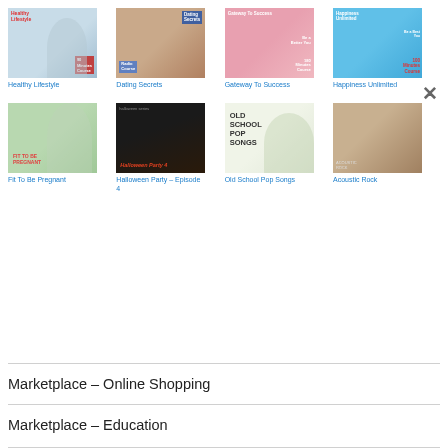[Figure (screenshot): Grid of 8 product thumbnails in 2 rows of 4. Row 1: Healthy Lifestyle (woman jogging), Dating Secrets (couple with coffee mugs), Gateway To Success (woman gesturing thumbs up on pink background), Happiness Unlimited (woman thumbs up blue background). Row 2: Fit To Be Pregnant (woman in white tank), Halloween Party - Episode 4 (dark horror image), Old School Pop Songs (woman with green headband), Acoustic Rock (man with guitar).]
Healthy Lifestyle
Dating Secrets
Gateway To Success
Happiness Unlimited
Fit To Be Pregnant
Halloween Party – Episode 4
Old School Pop Songs
Acoustic Rock
Marketplace – Online Shopping
Marketplace – Education